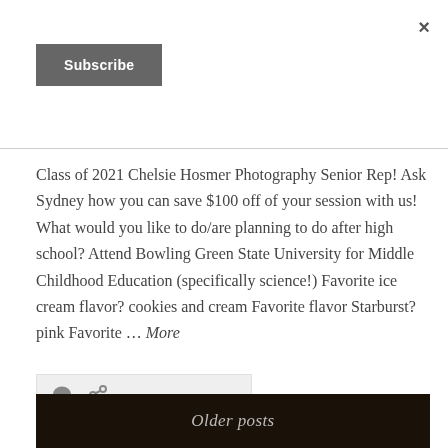×
Subscribe
Class of 2021 Chelsie Hosmer Photography Senior Rep! Ask Sydney how you can save $100 off of your session with us! What would you like to do/are planning to do after high school? Attend Bowling Green State University for Middle Childhood Education (specifically science!) Favorite ice cream flavor? cookies and cream Favorite flavor Starburst? pink Favorite … More
[Figure (other): Comment and link/share icons inside a light grey box]
Older posts